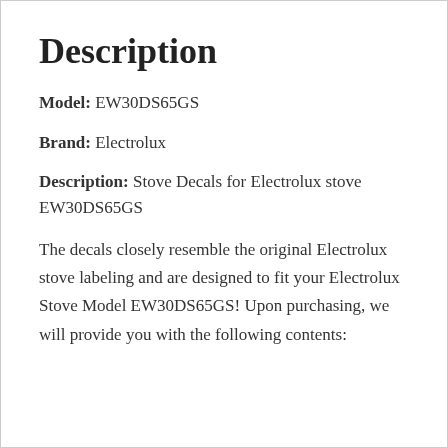Description
Model: EW30DS65GS
Brand: Electrolux
Description: Stove Decals for Electrolux stove EW30DS65GS
The decals closely resemble the original Electrolux stove labeling and are designed to fit your Electrolux Stove Model EW30DS65GS! Upon purchasing, we will provide you with the following contents: